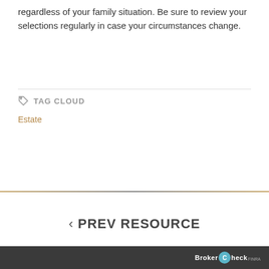regardless of your family situation. Be sure to review your selections regularly in case your circumstances change.
TAG CLOUD
Estate
< PREV RESOURCE
BrokerCheck FINRA